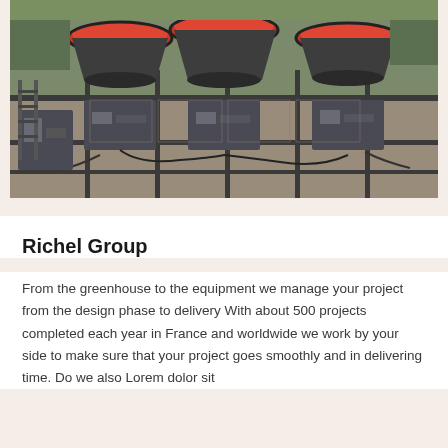[Figure (photo): Aerial view of industrial greenhouse equipment — three large circular red-rimmed funnel/hopper units mounted on a metal grid framework, with hydraulic and mechanical components visible below, situated at a construction or industrial site.]
Richel Group
From the greenhouse to the equipment we manage your project from the design phase to delivery With about 500 projects completed each year in France and worldwide we work by your side to make sure that your project goes smoothly and in delivering time. Do we also Lorem dolor sit...